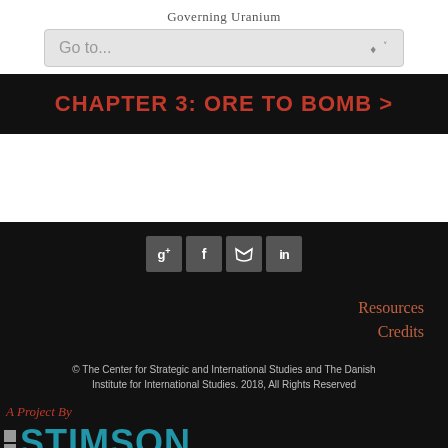Governing Uranium
[Figure (screenshot): Navigation dropdown selector showing 'Go to...' placeholder text]
CHAPTER 3: ORE TO BOMB >
[Figure (infographic): Social media share buttons: Google+, Facebook, Twitter, LinkedIn]
Resources
Credits
© The Center for Strategic and International Studies and The Danish Institute for International Studies. 2018, All Rights Reserved
[Figure (logo): A Project By Stimson logo]